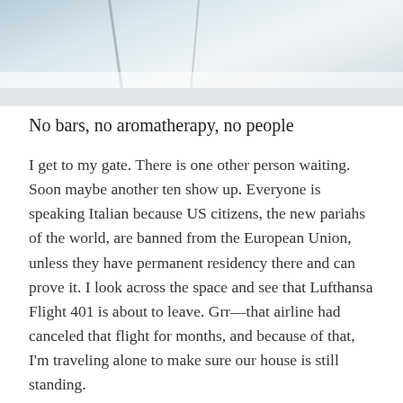[Figure (photo): Top portion of a photo showing abstract light and shadow, appears to be an airport or indoor space with diagonal lines and muted blue-grey tones]
No bars, no aromatherapy, no people
I get to my gate. There is one other person waiting. Soon maybe another ten show up. Everyone is speaking Italian because US citizens, the new pariahs of the world, are banned from the European Union, unless they have permanent residency there and can prove it. I look across the space and see that Lufthansa Flight 401 is about to leave. Grr—that airline had canceled that flight for months, and because of that, I'm traveling alone to make sure our house is still standing.
The weirdness continues with the flight. The Airbus 330 is maybe one-quarter full. We're spaced far apart. I